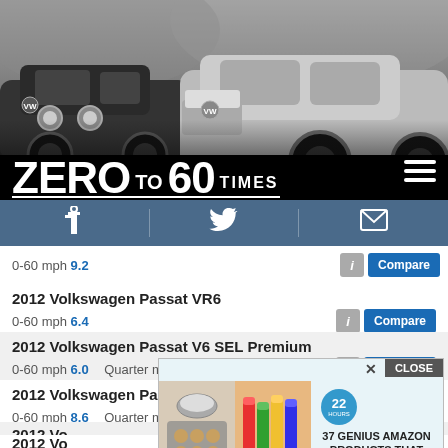[Figure (photo): Hero banner showing two Volkswagen cars (vintage and modern) in black and white, with 'ZERO TO 60 TIMES' logo overlaid and a hamburger menu icon]
[Figure (infographic): Navigation bar with Facebook, Twitter, and email icons on dark blue background]
0-60 mph 9.2
2012 Volkswagen Passat VR6
0-60 mph 6.4
2012 Volkswagen Passat V6 SEL Premium
0-60 mph 6.0   Quarter mile 14.5
2012 Volkswagen Passat TDI SE
0-60 mph 8.6   Quarter mile 16.7
2012 Vo
0-60 mp
2012 Vo
[Figure (infographic): Advertisement overlay: '37 GENIUS AMAZON PRODUCTS THAT CAN BE USED BY ANYONE' with badge showing '22' and food/cosmetic product images, with CLOSE button]